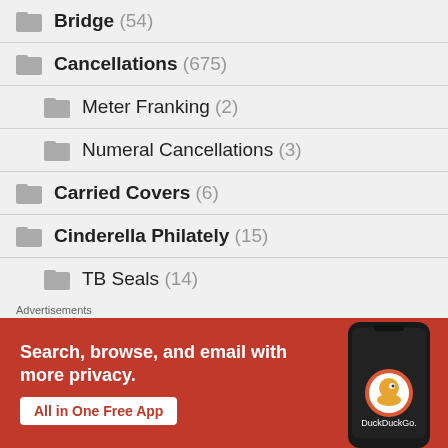Bridge (54)
Cancellations (675)
Meter Franking (2)
Numeral Cancellations (3)
Carried Covers (6)
Cinderella Philately (15)
TB Seals (14)
[Figure (screenshot): DuckDuckGo advertisement banner with text 'Search, browse, and email with more privacy. All in One Free App' on orange background with phone image showing DuckDuckGo app]